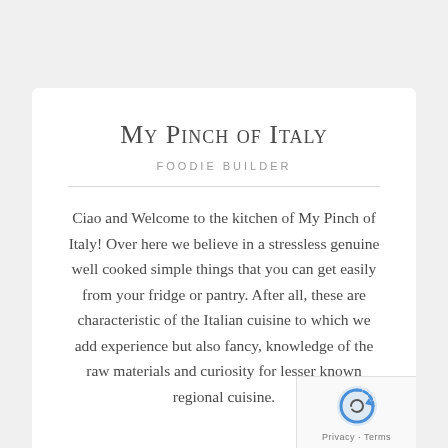My Pinch of Italy
FOODIE BUILDER
Ciao and Welcome to the kitchen of My Pinch of Italy! Over here we believe in a stressless genuine well cooked simple things that you can get easily from your fridge or pantry. After all, these are characteristic of the Italian cuisine to which we add experience but also fancy, knowledge of the raw materials and curiosity for lesser known regional cuisine.